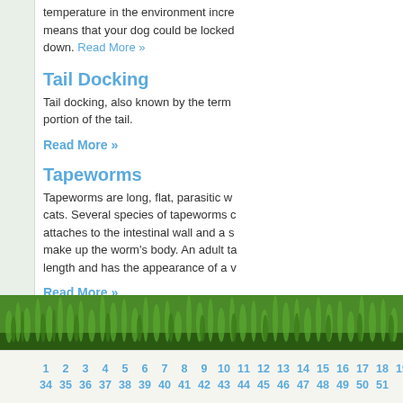temperature in the environment incre... means that your dog could be locked down. Read More »
Tail Docking
Tail docking, also known by the term portion of the tail.
Read More »
Tapeworms
Tapeworms are long, flat, parasitic w... cats. Several species of tapeworms c... attaches to the intestinal wall and a s... make up the worm's body. An adult ta... length and has the appearance of a v...
Read More »
[Figure (photo): Grass/nature decorative background image at the bottom of the page]
1 2 3 4 5 6 7 8 9 10 11 12 13 14 15 16 17 18 19 20 21 ... 34 35 36 37 38 39 40 41 42 43 44 45 46 47 48 49 50 51 ...